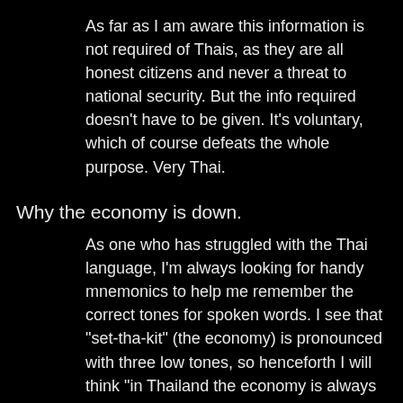As far as I am aware this information is not required of Thais, as they are all honest citizens and never a threat to national security. But the info required doesn't have to be given. It's voluntary, which of course defeats the whole purpose. Very Thai.
Why the economy is down.
As one who has struggled with the Thai language, I'm always looking for handy mnemonics to help me remember the correct tones for spoken words. I see that "set-tha-kit" (the economy) is pronounced with three low tones, so henceforth I will think "in Thailand the economy is always down."